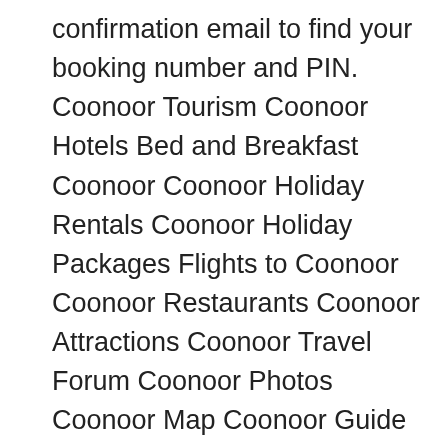confirmation email to find your booking number and PIN. Coonoor Tourism Coonoor Hotels Bed and Breakfast Coonoor Coonoor Holiday Rentals Coonoor Holiday Packages Flights to Coonoor Coonoor Restaurants Coonoor Attractions Coonoor Travel Forum Coonoor Photos Coonoor Map Coonoor Guide All Coonoor Hotels; Coonoor ... The Realm Resort is located 17km from Coonoor and 26km from Ooty. This service may contain translations powered by Google. Travel might only be permitted for certain purposes, and touristic travel in particular may not be allowed. Richard, the care taker along with Mia and Jack , the two dogs makes it a wonderful experience ! Booking.com's role is to be a feedback distributor for both guests and properties. The Realm - The resort also offers